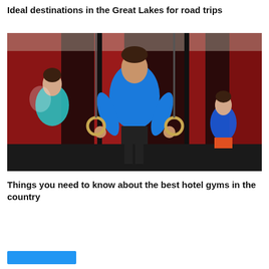Ideal destinations in the Great Lakes for road trips
[Figure (photo): Man in blue shirt doing gymnastics ring exercises in a gym with other athletes in background]
Things you need to know about the best hotel gyms in the country